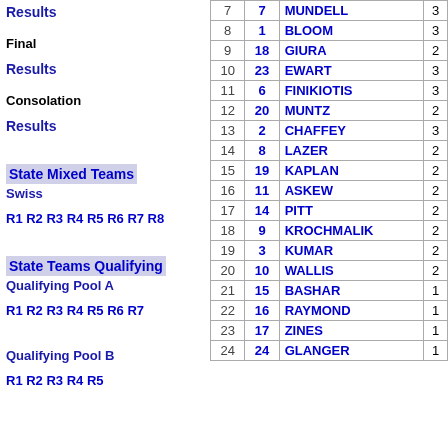Results
Final
Results
Consolation
Results
State Mixed Teams
Swiss
R1 R2 R3 R4 R5 R6 R7 R8
State Teams Qualifying
Qualifying Pool A
R1 R2 R3 R4 R5 R6 R7
Qualifying Pool B
R1 R2 R3 R4 R5
| # | Seed | Name | Pts |
| --- | --- | --- | --- |
| 7 | 7 | MUNDELL | 3 |
| 8 | 1 | BLOOM | 3 |
| 9 | 18 | GIURA | 2 |
| 10 | 23 | EWART | 3 |
| 11 | 6 | FINIKIOTIS | 3 |
| 12 | 20 | MUNTZ | 2 |
| 13 | 2 | CHAFFEY | 3 |
| 14 | 8 | LAZER | 2 |
| 15 | 19 | KAPLAN | 2 |
| 16 | 11 | ASKEW | 2 |
| 17 | 14 | PITT | 2 |
| 18 | 9 | KROCHMALIK | 2 |
| 19 | 3 | KUMAR | 2 |
| 20 | 10 | WALLIS | 2 |
| 21 | 15 | BASHAR | 1 |
| 22 | 16 | RAYMOND | 1 |
| 23 | 17 | ZINES | 1 |
| 24 | 24 | GLANGER | 1 |